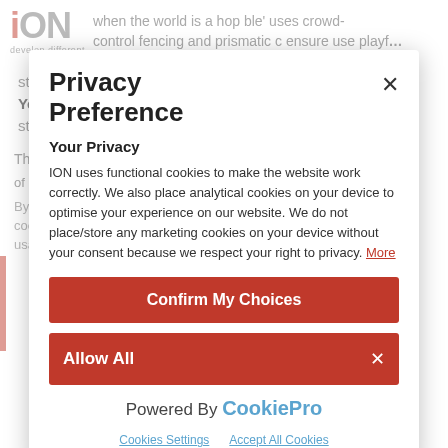[Figure (logo): ION logo with red I and 'develop different' tagline]
when the world is a hopeless place' uses crowd-control fencing and prismatic colours to playf... statement about repression, hope and resistance strategies.
Privacy Preference
Your Privacy
Your Privacy
The title of the work is a reference to the opening line of ION uses functional cookies to make the website work correctly. We also place analytical cookies on your device to optimise your experience on our website. We do not place/store any marketing cookies on your device without your consent because we respect your right to privacy. More
Confirm My Choices
of 'Oz' from 1900. The first verse of the song was written
By clicking 'Accept All Cookies' you agree to the storing of cookies on your device to enhance navigation, analyze site usage, and assist in our marketing efforts.
Allow All
Powered By  CookiePro
Cookies Settings
Accept All Cookies